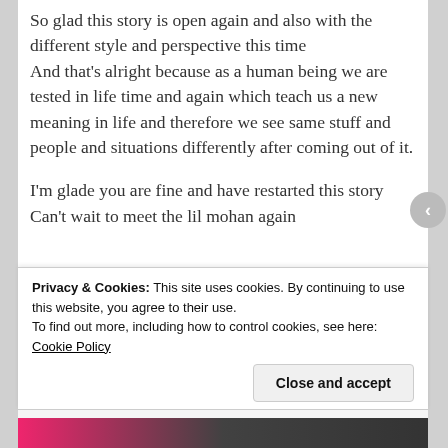So glad this story is open again and also with the different style and perspective this time
And that's alright because as a human being we are tested in life time and again which teach us a new meaning in life and therefore we see same stuff and people and situations differently after coming out of it.
I'm glade you are fine and have restarted this story
Can't wait to meet the lil mohan again
Privacy & Cookies: This site uses cookies. By continuing to use this website, you agree to their use.
To find out more, including how to control cookies, see here: Cookie Policy